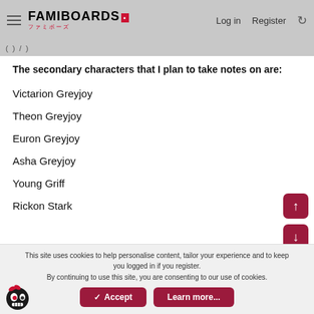FAMIBOARDS  Log in  Register
( ) / )
The secondary characters that I plan to take notes on are:
Victarion Greyjoy
Theon Greyjoy
Euron Greyjoy
Asha Greyjoy
Young Griff
Rickon Stark
This site uses cookies to help personalise content, tailor your experience and to keep you logged in if you register.
By continuing to use this site, you are consenting to our use of cookies.